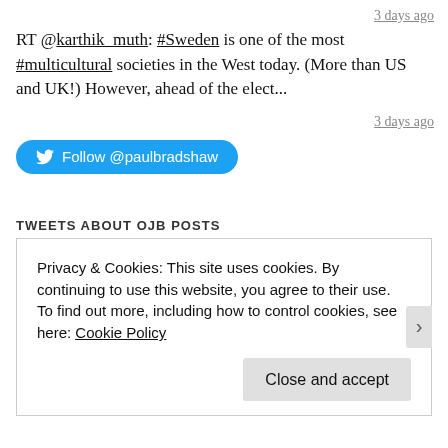3 days ago
RT @karthik_muth: #Sweden is one of the most #multicultural societies in the West today. (More than US and UK!) However, ahead of the elect...
3 days ago
[Figure (other): Blue Twitter Follow button with bird icon reading 'Follow @paulbradshaw']
TWEETS ABOUT OJB POSTS
My Tweets
Privacy & Cookies: This site uses cookies. By continuing to use this website, you agree to their use.
To find out more, including how to control cookies, see here: Cookie Policy
Close and accept